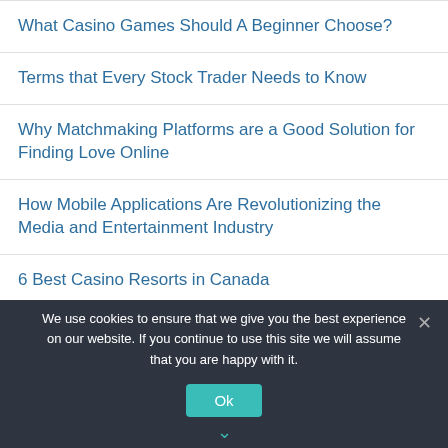What Casino Games Should A Beginner Choose?
Terms that Every Stock Trader Needs to Know
Why Matchmaking Platforms are a Good Solution for Finding Love Online
How Mobile Applications Are Revolutionizing the Media and Entertainment Industry
6 Best Casino Resorts in Canada
We use cookies to ensure that we give you the best experience on our website. If you continue to use this site we will assume that you are happy with it.